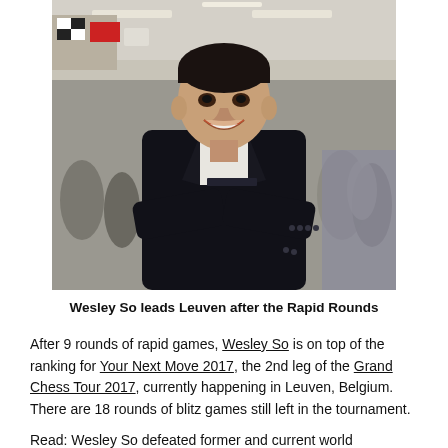[Figure (photo): Wesley So standing with arms crossed, smiling and looking upward, wearing a dark suit jacket with a Grand Chess Tour badge, in a large indoor venue with colorful flags in the background and a crowd of people.]
Wesley So leads Leuven after the Rapid Rounds
After 9 rounds of rapid games, Wesley So is on top of the ranking for Your Next Move 2017, the 2nd leg of the Grand Chess Tour 2017, currently happening in Leuven, Belgium. There are 18 rounds of blitz games still left in the tournament.
Read: Wesley So defeated former and current world